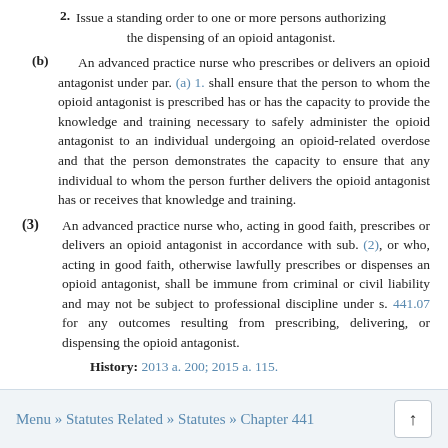2. Issue a standing order to one or more persons authorizing the dispensing of an opioid antagonist.
(b) An advanced practice nurse who prescribes or delivers an opioid antagonist under par. (a) 1. shall ensure that the person to whom the opioid antagonist is prescribed has or has the capacity to provide the knowledge and training necessary to safely administer the opioid antagonist to an individual undergoing an opioid-related overdose and that the person demonstrates the capacity to ensure that any individual to whom the person further delivers the opioid antagonist has or receives that knowledge and training.
(3) An advanced practice nurse who, acting in good faith, prescribes or delivers an opioid antagonist in accordance with sub. (2), or who, acting in good faith, otherwise lawfully prescribes or dispenses an opioid antagonist, shall be immune from criminal or civil liability and may not be subject to professional discipline under s. 441.07 for any outcomes resulting from prescribing, delivering, or dispensing the opioid antagonist.
History: 2013 a. 200; 2015 a. 115.
Menu » Statutes Related » Statutes » Chapter 441